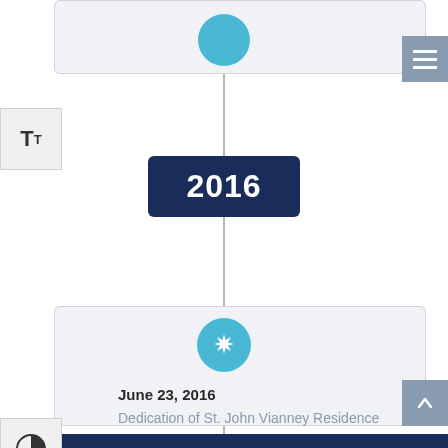[Figure (infographic): Timeline showing year 2016 with a teal circle icon above a card entry]
2016
June 23, 2016
Dedication of St. John Vianney Residence